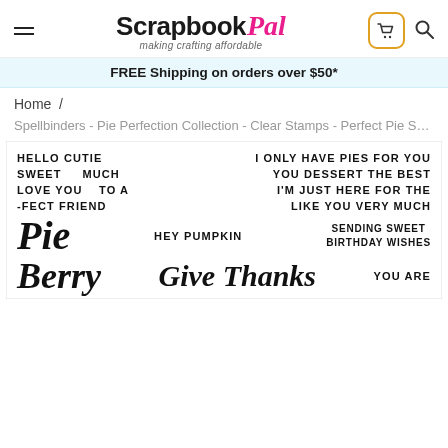Scrapbook Pal - making crafting affordable
FREE Shipping on orders over $50*
Home /
Spellbinders - Pie Perfection Collection - Clear Stamps - Perfect Pie Sentin...
[Figure (photo): Product image of clear stamps set with text stamps including: HELLO CUTIE, SWEET, MUCH, LOVE YOU, TO A, -FECT FRIEND, I ONLY HAVE PIES FOR YOU, YOU DESSERT THE BEST, I'M JUST HERE FOR THE, LIKE YOU VERY MUCH, HEY PUMPKIN, SENDING SWEET BIRTHDAY WISHES, Pie (cursive), Berry (cursive), Give Thanks (cursive), YOU ARE]